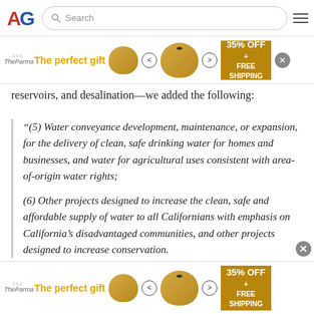AG [logo] | Search | Menu
[Figure (other): Advertisement banner: The perfect gift - 35% OFF + FREE SHIPPING with bowl image]
and re... recycli... reservoirs, and desalination—we added the following:
"(5) Water conveyance development, maintenance, or expansion, for the delivery of clean, safe drinking water for homes and businesses, and water for agricultural uses consistent with area-of-origin water rights;
(6) Other projects designed to increase the clean, safe and affordable supply of water to all Californians with emphasis on California's disadvantaged communities, and other projects designed to increase conservation.
[Figure (other): Advertisement banner bottom: The perfect gift - 35% OFF + FREE SHIPPING with bowl image]